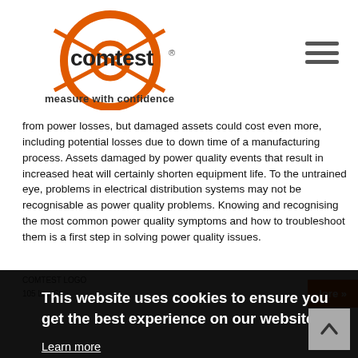[Figure (logo): Comtest logo — orange circle with crosshairs and 'comtest' text, tagline 'measure with confidence']
from power losses, but damaged assets could cost even more, including potential losses due to down time of a manufacturing process. Assets damaged by power quality events that result in increased heat will certainly shorten equipment life. To the untrained eye, problems in electrical distribution systems may not be recognisable as power quality problems. Knowing and recognising the most common power quality symptoms and how to troubleshoot them is a first step in solving power quality issues.
This website uses cookies to ensure you get the best experience on our website.
Learn more
Got it!
COMTEST LOGO
105 La...St